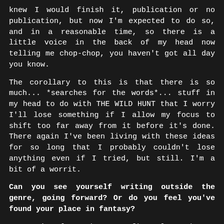knew I would finish it, publication or no publication, but now I'm expected to do so, and in a reasonable time, so there is a little voice in the back of my head now telling me chop-chop, you haven't got all day you know.
The corollary to this is that there is so much... *searches for the words*... stuff in my head to do with THE WILD HUNT that I worry I'll lose something if I allow my focus to shift too far away from it before it's done. There again I've been living with these ideas for so long that I probably couldn't lose anything even if I tried, but still. I'm a bit of a worrit.
Can you see yourself writing outside the genre, going forward? Or do you feel you've found your place in fantasy?
Fantasy's always been my first love, but I confess, I've not been entirely faithful to it. I have ideas on the back burner for some what do they call it, contemporary women's fiction, which if they ever come to fruition will no doubt appear under yet another pen-name, but despite the occasional flirtation I